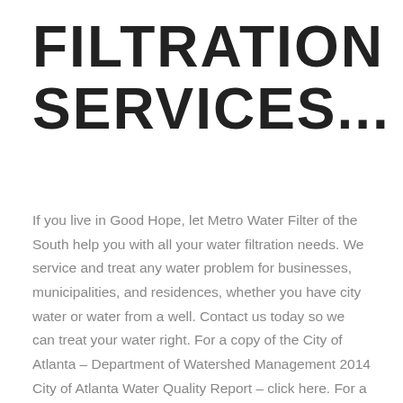FILTRATION SERVICES...
If you live in Good Hope, let Metro Water Filter of the South help you with all your water filtration needs. We service and treat any water problem for businesses, municipalities, and residences, whether you have city water or water from a well. Contact us today so we can treat your water right. For a copy of the City of Atlanta – Department of Watershed Management 2014 City of Atlanta Water Quality Report – click here. For a copy of the Chattahoochee River Water Supply Watershed Protection Ordinance of Suwanee, Georgia – click here. For the Fulton County Water Quality Report, click